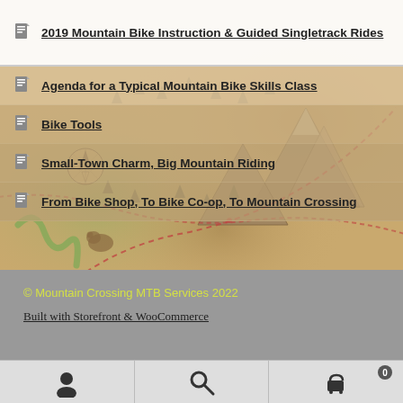[Figure (illustration): Vintage treasure map style background with mountains, trees, compass rose, dashed trail path, and river]
2019 Mountain Bike Instruction & Guided Singletrack Rides
Agenda for a Typical Mountain Bike Skills Class
Bike Tools
Small-Town Charm, Big Mountain Riding
From Bike Shop, To Bike Co-op, To Mountain Crossing
© Mountain Crossing MTB Services 2022
Built with Storefront & WooCommerce
User icon | Search icon | Cart (0) icon